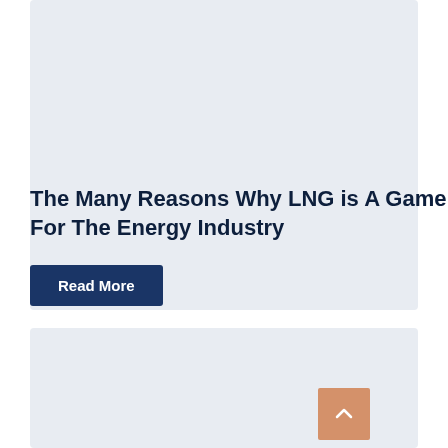[Figure (illustration): Light gray card/panel background at top, representing an article card with image area]
The Many Reasons Why LNG is A Game Changer For The Energy Industry
Read More
[Figure (illustration): Light gray card/panel background at bottom, representing a second article card with image area, with an orange scroll-to-top button in the bottom right corner]